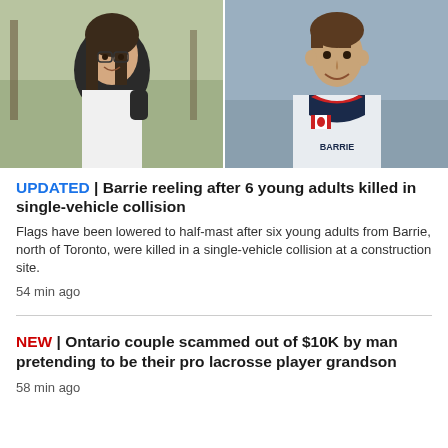[Figure (photo): Two side-by-side photos: left shows a young woman with glasses and dark hair wearing a black jacket, smiling; right shows a young man in a white lacrosse/sports jersey with a Canadian flag patch, smiling against a grey background.]
UPDATED | Barrie reeling after 6 young adults killed in single-vehicle collision
Flags have been lowered to half-mast after six young adults from Barrie, north of Toronto, were killed in a single-vehicle collision at a construction site.
54 min ago
NEW | Ontario couple scammed out of $10K by man pretending to be their pro lacrosse player grandson
58 min ago